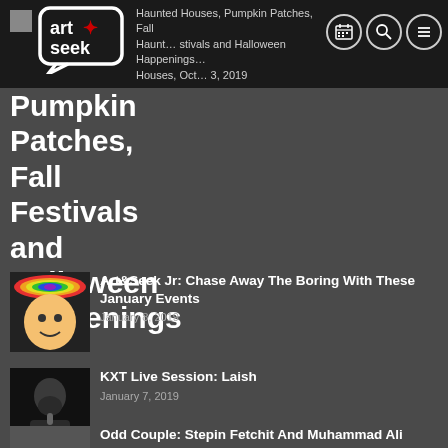art&seek logo + Haunted Houses, Pumpkin Patches, Fall Festivals and Halloween Happenings — October 3, 2019
Pumpkin Patches, Fall Festivals and Halloween Happenings
[Figure (photo): Thumbnail image for Art&Seek Jr article — colorful illustrated face with rainbow hat]
Art&Seek Jr: Chase Away The Boring With These January Events
January 8, 2019
[Figure (photo): Thumbnail photo of a bearded man performing, KXT Live Session: Laish]
KXT Live Session: Laish
January 7, 2019
[Figure (photo): Thumbnail photo for Odd Couple: Stepin Fetchit And Muhammad Ali article]
Odd Couple: Stepin Fetchit And Muhammad Ali